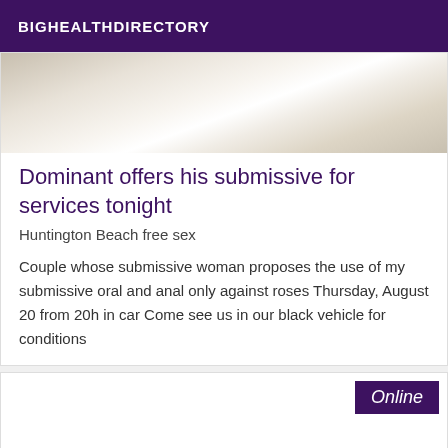BIGHEALTHDIRECTORY
[Figure (photo): A blurry interior photo showing a light-colored ceiling or wall with soft lighting.]
Dominant offers his submissive for services tonight
Huntington Beach free sex
Couple whose submissive woman proposes the use of my submissive oral and anal only against roses Thursday, August 20 from 20h in car Come see us in our black vehicle for conditions
Online